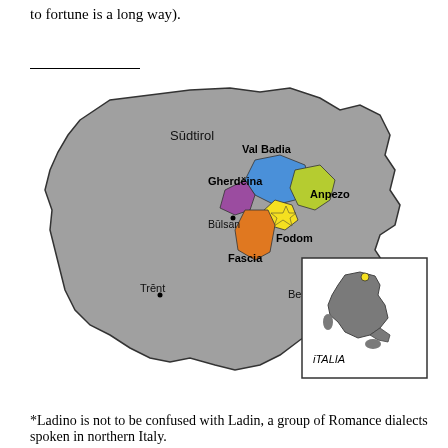to fortune is a long way).
[Figure (map): Map showing Ladin-speaking valleys in northern Italy: Val Badia (blue), Gherdëina (purple), Anpezo (green), Fodom (yellow), Fascia (orange), within regions of Südtirol, Trënt, and Belun. Inset shows location in Italy labeled iTALIA.]
*Ladino is not to be confused with Ladin, a group of Romance dialects spoken in northern Italy.